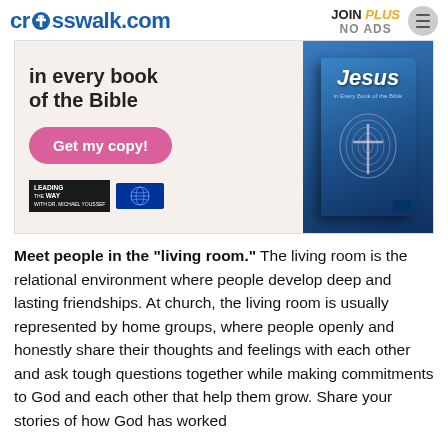crosswalk.com  JOIN PLUS NO ADS
[Figure (other): Advertisement banner for a book titled 'Jesus in Every Book of the Bible' with text 'in every book of the Bible', a pink 'Get my copy!' button, Leading the Way logos, and a book cover image on the right side.]
Meet people in the "living room." The living room is the relational environment where people develop deep and lasting friendships. At church, the living room is usually represented by home groups, where people openly and honestly share their thoughts and feelings with each other and ask tough questions together while making commitments to God and each other that help them grow. Share your stories of how God has worked